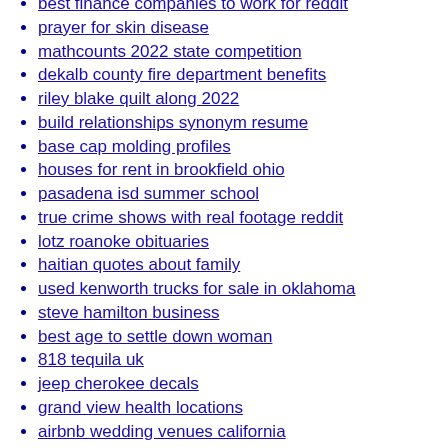best finance companies to work for reddit
prayer for skin disease
mathcounts 2022 state competition
dekalb county fire department benefits
riley blake quilt along 2022
build relationships synonym resume
base cap molding profiles
houses for rent in brookfield ohio
pasadena isd summer school
true crime shows with real footage reddit
lotz roanoke obituaries
haitian quotes about family
used kenworth trucks for sale in oklahoma
steve hamilton business
best age to settle down woman
818 tequila uk
jeep cherokee decals
grand view health locations
airbnb wedding venues california
halal salami
starting a farm in south carolina
hightower falls directions
tug of war weight categories
country concerts 2022 sacramento
young girls erotica stories alt repository